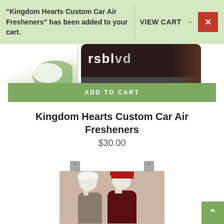“Kingdom Hearts Custom Car Air Fresheners” has been added to your cart.
VIEW CART →
[Figure (screenshot): Partial product image showing a dark phone frame with 'rsblvd' text visible, and a green/white logo on the left side — cropped at top of page]
ADD TO CART
Kingdom Hearts Custom Car Air Fresheners
$30.00
[Figure (photo): Anime poster product image showing two characters: one with white hair and one with red hair, clipped at top with metal clips, on a pinkish-beige background]